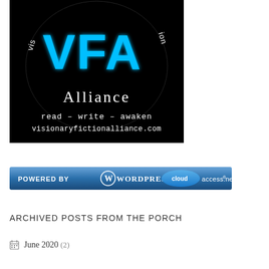[Figure (logo): Visionary Fiction Alliance logo on black background with glowing blue 'VFA' letters, 'Alliance' text in white below, and tagline 'read – write – awaken' and 'visionaryfictionalliance.com' at the bottom]
[Figure (logo): Powered by WordPress CloudAccess.net banner with blue gradient background]
ARCHIVED POSTS FROM THE PORCH
June 2020 (2)